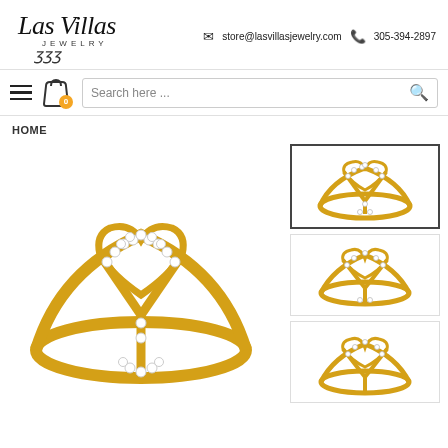Las Villas Jewelry — store@lasvillasjewelry.com — 305-394-2897
[Figure (screenshot): Las Villas Jewelry logo with cursive script text and JEWELRY subtitle]
store@lasvillasjewelry.com  305-394-2897
[Figure (screenshot): Navigation bar with hamburger menu, shopping bag icon with 0 badge, and search box saying Search here ...]
HOME
[Figure (photo): Main product image: Gold ring with diamond-studded letter Y shape in white diamonds on yellow gold band]
[Figure (photo): Thumbnail 1 (active/selected): Same gold diamond Y ring, front view with navy border]
[Figure (photo): Thumbnail 2: Gold diamond Y ring, side angle view]
[Figure (photo): Thumbnail 3: Gold diamond Y ring, another angle, partially visible]